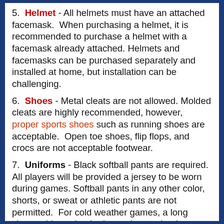5. Helmet - All helmets must have an attached facemask. When purchasing a helmet, it is recommended to purchase a helmet with a facemask already attached. Helmets and facemasks can be purchased separately and installed at home, but installation can be challenging.
6. Shoes - Metal cleats are not allowed. Molded cleats are highly recommended, however, proper sports shoes such as running shoes are acceptable. Open toe shoes, flip flops, and crocs are not acceptable footwear.
7. Uniforms - Black softball pants are required. All players will be provided a jersey to be worn during games. Softball pants in any other color, shorts, or sweat or athletic pants are not permitted. For cold weather games, a long sleeve shirt under the jersey is permitted. Jackets covering the jersey and number are only permissible in very cold weather.
8. Socks - Long softball socks which cover the entire calve are required. Black socks are recommended; however, many teams enjoy